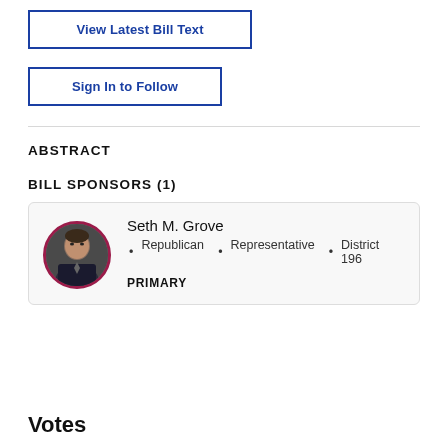View Latest Bill Text
Sign In to Follow
ABSTRACT
BILL SPONSORS (1)
Seth M. Grove
• Republican  •  Representative  •  District 196
PRIMARY
Votes